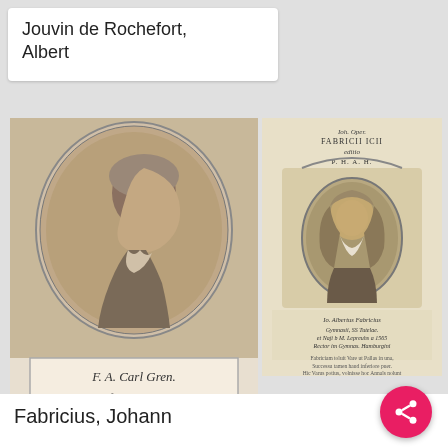Jouvin de Rochefort, Albert
[Figure (illustration): Black and white engraving portrait of F.A. Carl Gren, a man shown in side profile in an oval frame, with text below reading 'F. A. Carl Gren / Professor zu Halle']
[Figure (illustration): Black and white engraved frontispiece showing Johann Fabricius in an ornate oval portrait with Latin text above and below, decorative baroque border, and script identifying him as Albertus Fabricius]
Fabricius, Johann